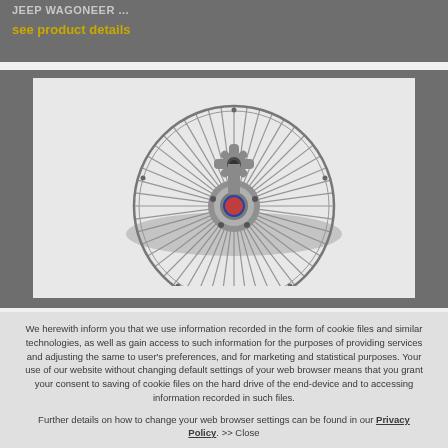JEEP WAGONEER ...
see product details
[Figure (photo): Close-up photo of a metal fan clutch assembly with radiating fins, viewed from above against a light background. The center hub has a star/cross-shaped mounting plate with holes.]
We herewith inform you that we use information recorded in the form of cookie files and similar technologies, as well as gain access to such information for the purposes of providing services and adjusting the same to user's preferences, and for marketing and statistical purposes. Your use of our website without changing default settings of your web browser means that you grant your consent to saving of cookie files on the hard drive of the end-device and to accessing information recorded in such files.
Further details on how to change your web browser settings can be found in our Privacy Policy. >> Close